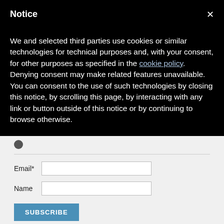Notice
We and selected third parties use cookies or similar technologies for technical purposes and, with your consent, for other purposes as specified in the cookie policy. Denying consent may make related features unavailable.
You can consent to the use of such technologies by closing this notice, by scrolling this page, by interacting with any link or button outside of this notice or by continuing to browse otherwise.
Email*
Name
SUBSCRIBE